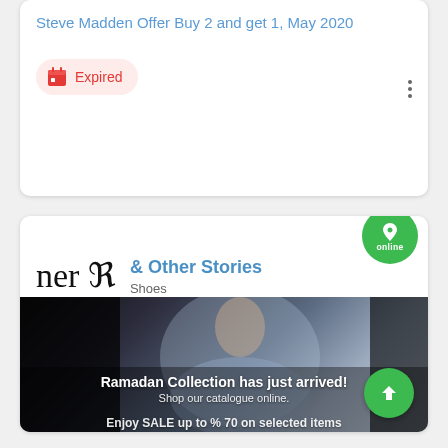Steve Madden Offer Buy 2 and get 1, May 2020
Expired
& Other Stories
Shoes
[Figure (photo): Fashion promotional image showing a woman in a blue satin dress. Text overlay reads: 'Ramadan Collection has just arrived! Shop our catalogue online.' Bottom text partially visible: 'Enjoy SALE up to % 70 on selected items']